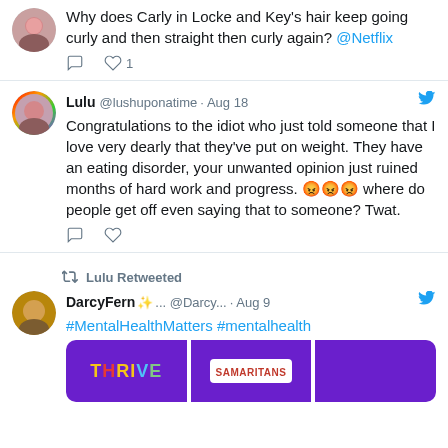Why does Carly in Locke and Key's hair keep going curly and then straight then curly again? @Netflix
Lulu @lushuponatime · Aug 18
Congratulations to the idiot who just told someone that I love very dearly that they've put on weight. They have an eating disorder, your unwanted opinion just ruined months of hard work and progress. 😡😡😡 where do people get off even saying that to someone? Twat.
Lulu Retweeted
DarcyFern ✨... @Darcy... · Aug 9
#MentalHealthMatters #mentalhealth